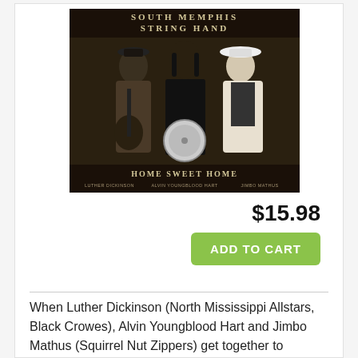[Figure (photo): Album cover for 'Home Sweet Home' by South Memphis String Hand featuring Luther Dickinson, Alvin Youngblood Hart, and Jimbo Mathus. Black and white photo of three musicians holding string instruments with text overlay.]
$15.98
ADD TO CART
When Luther Dickinson (North Mississippi Allstars, Black Crowes), Alvin Youngblood Hart and Jimbo Mathus (Squirrel Nut Zippers) get together to